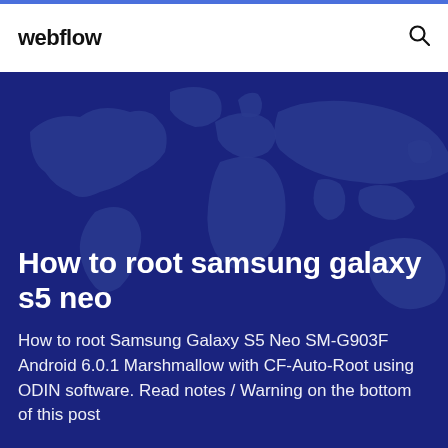webflow
[Figure (illustration): Dark blue world map background illustration used as hero image background]
How to root samsung galaxy s5 neo
How to root Samsung Galaxy S5 Neo SM-G903F Android 6.0.1 Marshmallow with CF-Auto-Root using ODIN software. Read notes / Warning on the bottom of this post